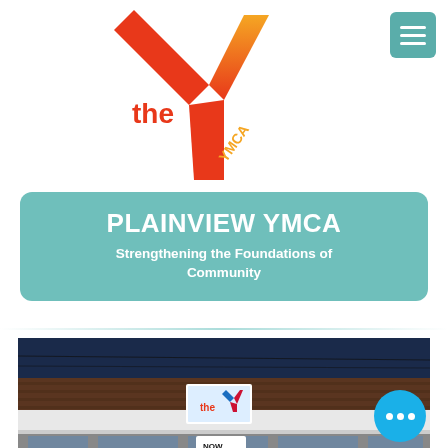[Figure (logo): YMCA logo with red and orange Y shape and 'the YMCA' text]
PLAINVIEW YMCA
Strengthening the Foundations of Community
[Figure (photo): Exterior photo of the Plainview YMCA building with a white awning and 'NOW OPEN' sign in the window, and a YMCA logo sign on the building]